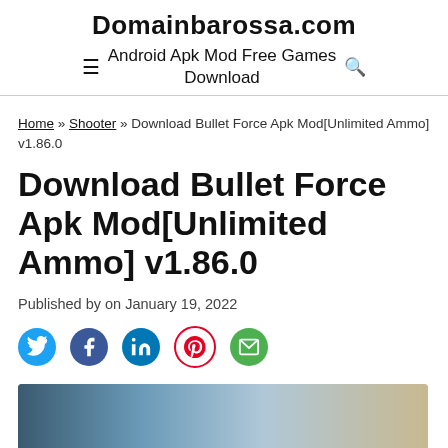Domainbarossa.com
Android Apk Mod Free Games Download
Home » Shooter » Download Bullet Force Apk Mod[Unlimited Ammo] v1.86.0
Download Bullet Force Apk Mod[Unlimited Ammo] v1.86.0
Published by on January 19, 2022
[Figure (infographic): Social share icons: Twitter (blue bird), Facebook (blue f), LinkedIn (blue in), Pinterest (red P circle), Email (green envelope)]
[Figure (photo): Bottom strip showing partial game screenshot with sky and ground scene]